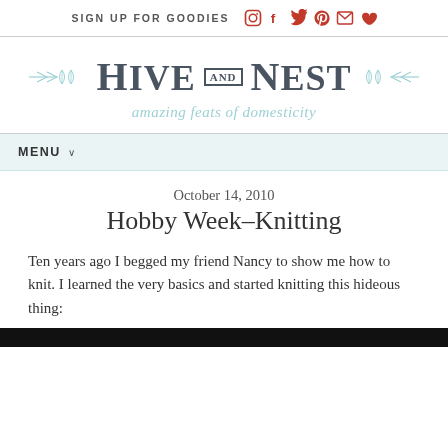SIGN UP FOR GOODIES [social icons: Instagram, Facebook, Twitter, Pinterest, Email, Heart]
[Figure (logo): Hive and Nest blog logo with teal decorative arrows on each side, subtitle reads 'amazing feats of domesticity']
MENU
October 14, 2010
Hobby Week–Knitting
Ten years ago I begged my friend Nancy to show me how to knit. I learned the very basics and started knitting this hideous thing:
[Figure (photo): Dark/black bottom strip indicating an image below the text]